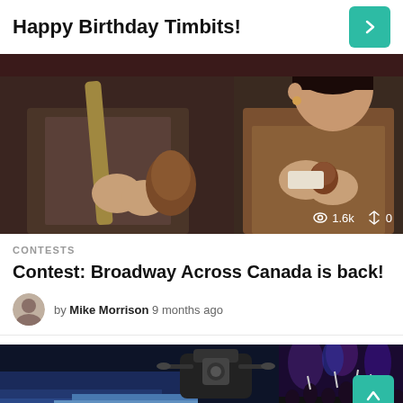Happy Birthday Timbits!
[Figure (photo): Two performers on stage, one in a tweed jacket holding a musical instrument, and a woman in a brown knit sweater examining a small object; stats overlay shows 1.6k views and 0 shares]
CONTESTS
Contest: Broadway Across Canada is back!
by Mike Morrison 9 months ago
[Figure (photo): Partial view of a drone or camera equipment against a sunset sky on the left, crowd with raised hands at a concert on the right; teal arrow-up button visible in lower right]